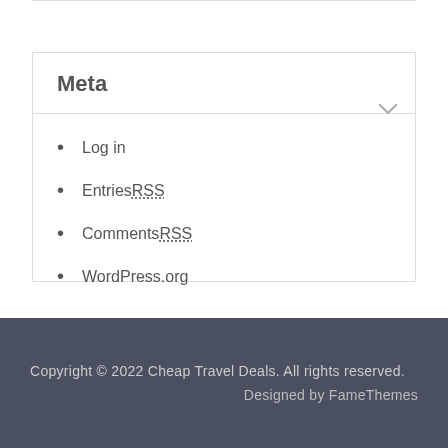Meta
Log in
Entries RSS
Comments RSS
WordPress.org
Copyright © 2022 Cheap Travel Deals. All rights reserved.
Designed by FameThemes